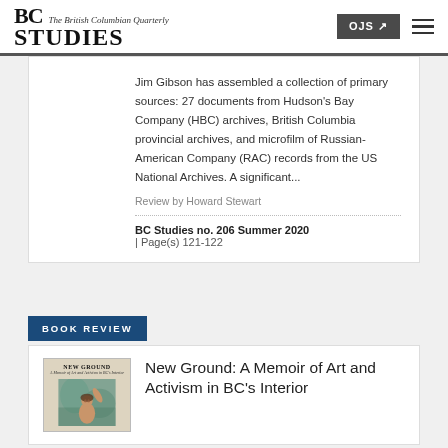BC STUDIES — The British Columbian Quarterly
Jim Gibson has assembled a collection of primary sources: 27 documents from Hudson's Bay Company (HBC) archives, British Columbia provincial archives, and microfilm of Russian-American Company (RAC) records from the US National Archives. A significant...
Review by Howard Stewart
BC Studies no. 206 Summer 2020 | Page(s) 121-122
BOOK REVIEW
[Figure (illustration): Book cover of 'New Ground: A Memoir of Art and Activism in BC's Interior' showing a figure with raised arm and abstract background]
New Ground: A Memoir of Art and Activism in BC's Interior